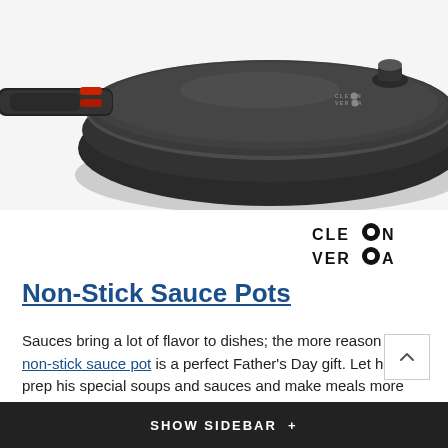[Figure (photo): Dark non-stick sauce pot with glass lid and red-accented handle, viewed from above and slightly to the side. The Cleverona brand logo is visible on the lid.]
[Figure (logo): Cleverona brand logo: CLE O N / VER O A with circular filled dot icons replacing the O letters.]
Non-Stick Sauce Pots
Sauces bring a lot of flavor to dishes; the more reason why non-stick sauce pot is a perfect Father's Day gift. Let him prep his special soups and sauces and make meals more exciting.
SHOW SIDEBAR +